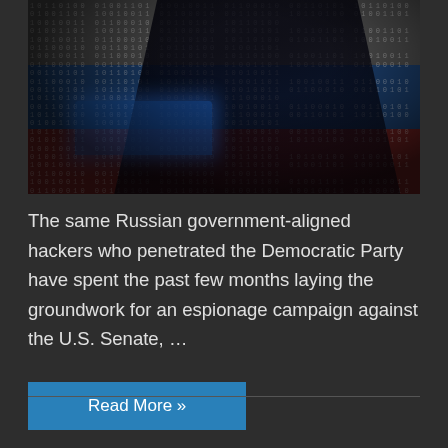[Figure (photo): A hooded figure silhouetted against a Russian flag overlaid with binary code matrix effect, sitting at a laptop — depicting a Russian government-aligned hacker.]
The same Russian government-aligned hackers who penetrated the Democratic Party have spent the past few months laying the groundwork for an espionage campaign against the U.S. Senate, …
Read More »